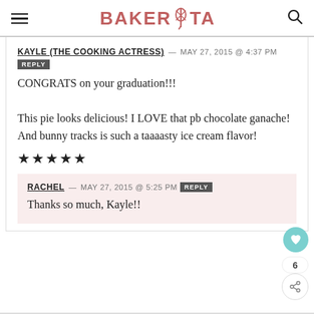BAKERITA
KAYLE (THE COOKING ACTRESS) — MAY 27, 2015 @ 4:37 PM REPLY
CONGRATS on your graduation!!!

This pie looks delicious! I LOVE that pb chocolate ganache! And bunny tracks is such a taaaasty ice cream flavor!

★★★★★
RACHEL — MAY 27, 2015 @ 5:25 PM REPLY
Thanks so much, Kayle!!